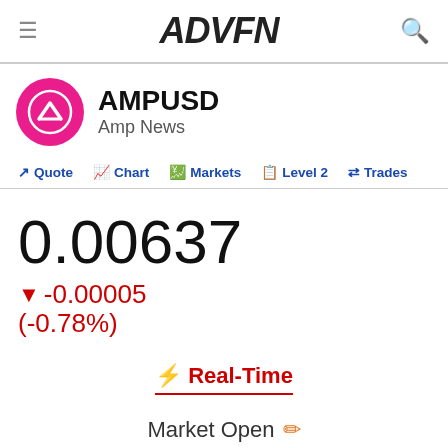ADVFN
AMPUSD
Amp News
Quote  Chart  Markets  Level 2  Trades
0.00637
↓ -0.00005 (-0.78%)
⚡ Real-Time
Market Open ☀